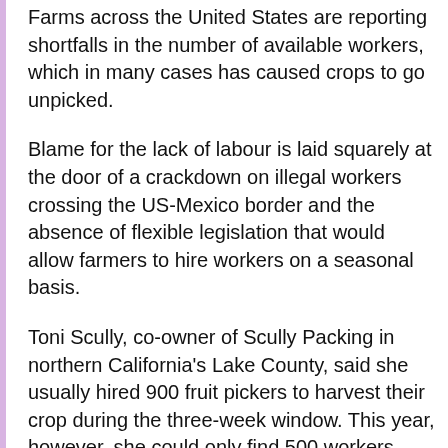Farms across the United States are reporting shortfalls in the number of available workers, which in many cases has caused crops to go unpicked.
Blame for the lack of labour is laid squarely at the door of a crackdown on illegal workers crossing the US-Mexico border and the absence of flexible legislation that would allow farmers to hire workers on a seasonal basis.
Toni Scully, co-owner of Scully Packing in northern California's Lake County, said she usually hired 900 fruit pickers to harvest their crop during the three-week window. This year, however, she could only find 500 workers.
"We think about 40 percent of our workers didn't come because of the increased security on the